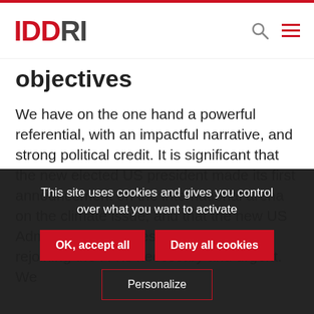IDDRI
objectives
We have on the one hand a powerful referential, with an impactful narrative, and strong political credit. It is significant that the new elected US president made its first announcement on the international arena on the climate issue, and that the new US Administration makes the judgment that rejoining the PA is necessary and urgent. We
This site uses cookies and gives you control over what you want to activate
OK, accept all
Deny all cookies
Personalize